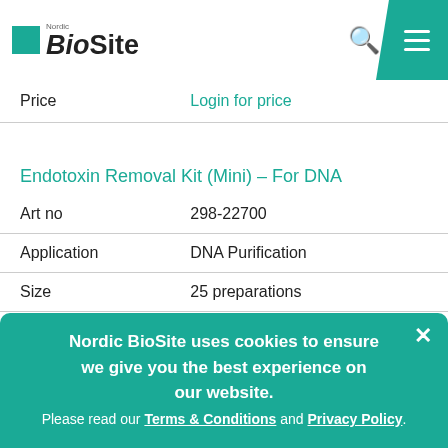[Figure (logo): Nordic BioSite logo with teal square and bold text]
| Price | Login for price |
| Endotoxin Removal Kit (Mini) – For DNA |  |
| Art no | 298-22700 |
| Application | DNA Purification |
| Size | 25 preparations |
| Price | Login for price |
Nordic BioSite uses cookies to ensure we give you the best experience on our website. Please read our Terms & Conditions and Privacy Policy.